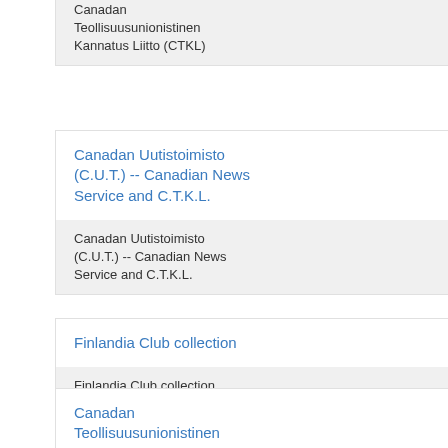Canadan Teollisuusunionistinen Kannatus Liitto (CTKL)
Canadan Uutistoimisto (C.U.T.) -- Canadian News Service and C.T.K.L.
Canadan Uutistoimisto (C.U.T.) -- Canadian News Service and C.T.K.L.
Finlandia Club collection
Finlandia Club collection
Canadan Teollisuusunionistinen Kannatus Liitto (CTKL) fonds